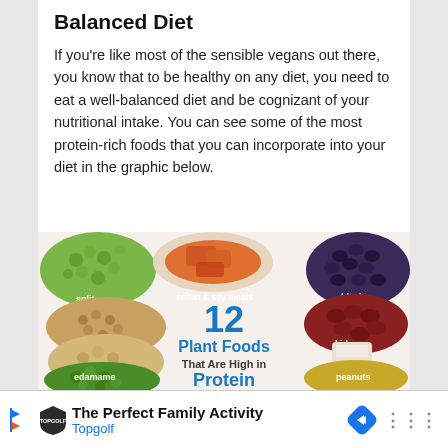Balanced Diet
If you're like most of the sensible vegans out there, you know that to be healthy on any diet, you need to eat a well-balanced diet and be cognizant of your nutritional intake. You can see some of the most protein-rich foods that you can incorporate into your diet in the graphic below.
[Figure (infographic): Infographic showing 12 Plant Foods That Are High in Protein, featuring images of split peas, seitan & soy meats, black beans, lentils, chickpeas, kidney beans, soymilk, edamame, and peanuts arranged around a central text overlay.]
The Perfect Family Activity
Topgolf